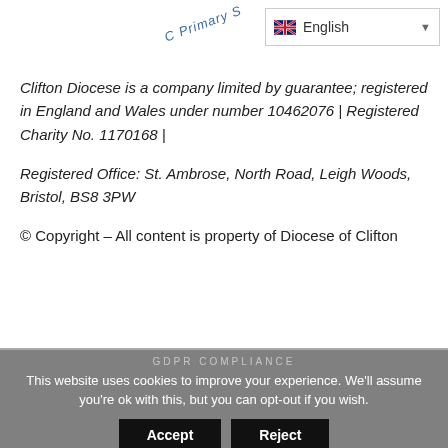[Figure (logo): Partial circular logo with curved text reading 'C Primary S' in blue italic letters, partially cropped at top of page]
Clifton Diocese is a company limited by guarantee; registered in England and Wales under number 10462076 | Registered Charity No. 1170168 |
Registered Office: St. Ambrose, North Road, Leigh Woods, Bristol, BS8 3PW
© Copyright – All content is property of Diocese of Clifton
GDPR COMPLIANCE
This website uses cookies to improve your experience. We'll assume you're ok with this, but you can opt-out if you wish.